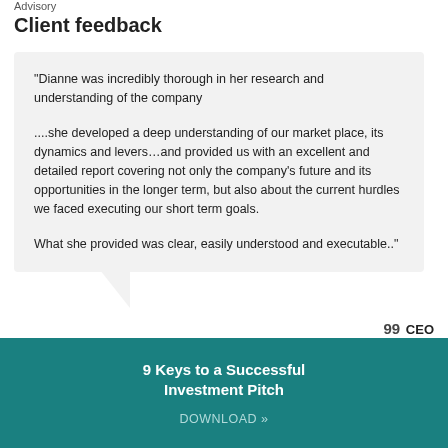Advisory
Client feedback
"Dianne was incredibly thorough in her research and understanding of the company

....she developed a deep understanding of our market place, its dynamics and levers…and provided us with an excellent and detailed report covering not only the company’s future and its opportunities in the longer term, but also about the current hurdles we faced executing our short term goals.

What she provided was clear, easily understood and executable.."
”” CEO
Post-consumer Materials Recycler
9 Keys to a Successful Investment Pitch
DOWNLOAD »